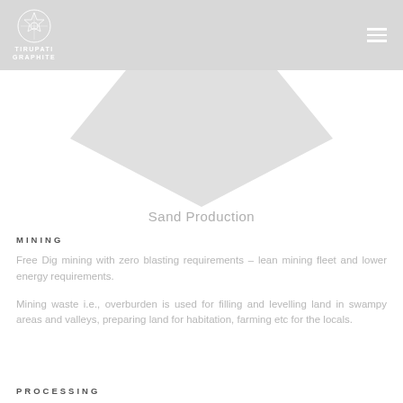TIRUPATI GRAPHITE
[Figure (logo): Tirupati Graphite logo with circular geometric pattern and company name]
[Figure (illustration): Large diamond/chevron shape in light grey pointing downward]
Sand Production
MINING
Free Dig mining with zero blasting requirements – lean mining fleet and lower energy requirements.
Mining waste i.e., overburden is used for filling and levelling land in swampy areas and valleys, preparing land for habitation, farming etc for the locals.
PROCESSING